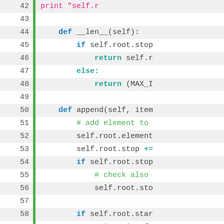[Figure (screenshot): Python source code viewer showing lines 42–67 with line numbers, a green sidebar bar, and syntax highlighting. Keywords in blue/teal, comments in green, strings in magenta, operators in teal.]